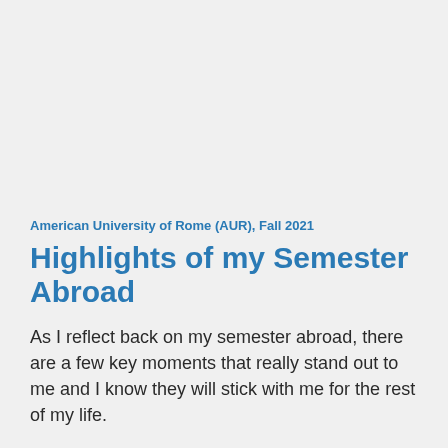American University of Rome (AUR), Fall 2021
Highlights of my Semester Abroad
As I reflect back on my semester abroad, there are a few key moments that really stand out to me and I know they will stick with me for the rest of my life.